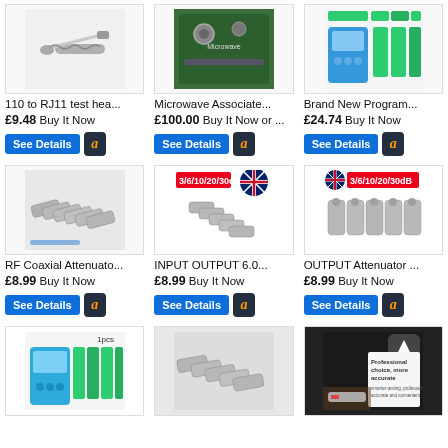[Figure (photo): 110 to RJ11 test head adapter cable]
110 to RJ11 test hea…
£9.48 Buy It Now
[Figure (photo): Microwave Associates equipment]
Microwave Associate…
£100.00 Buy It Now or …
[Figure (photo): Brand New Programmable device]
Brand New Program…
£24.74 Buy It Now
[Figure (photo): RF Coaxial Attenuator set of connectors]
RF Coaxial Attenuato…
£8.99 Buy It Now
[Figure (photo): INPUT OUTPUT 6.0dB attenuators with UK flag badge 3/6/10/20/30dB]
INPUT OUTPUT 6.0…
£8.99 Buy It Now
[Figure (photo): OUTPUT Attenuator set with UK flag badge 3/6/10/20/30dB]
OUTPUT Attenuator …
£8.99 Buy It Now
[Figure (photo): Programmable device 1pcs blue]
[Figure (photo): RF coaxial attenuator connectors row]
[Figure (photo): Professional choice more accurate device with up arrow button]